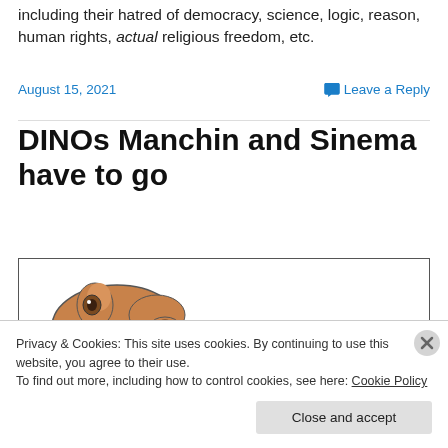including their hatred of democracy, science, logic, reason, human rights, actual religious freedom, etc.
August 15, 2021
Leave a Reply
DINOs Manchin and Sinema have to go
[Figure (illustration): Partial view of a cartoon dinosaur illustration inside a bordered box, partially obscured by cookie consent banner.]
Privacy & Cookies: This site uses cookies. By continuing to use this website, you agree to their use.
To find out more, including how to control cookies, see here: Cookie Policy
Close and accept